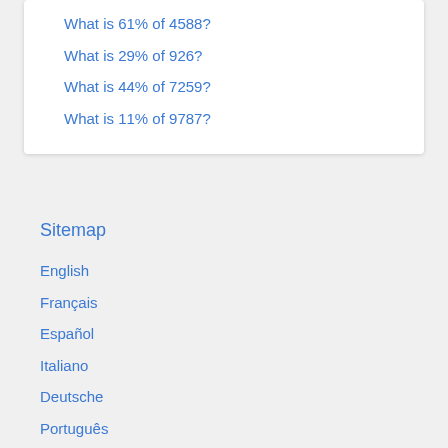What is 61% of 4588?
What is 29% of 926?
What is 44% of 7259?
What is 11% of 9787?
Sitemap
English
Français
Español
Italiano
Deutsche
Português